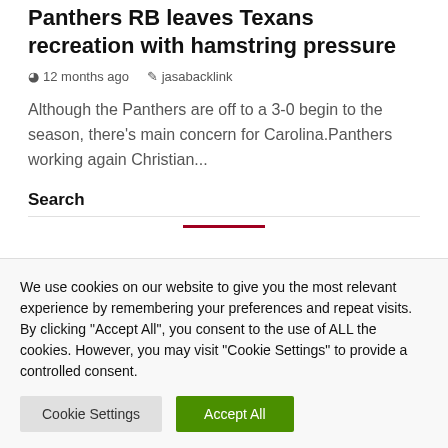Panthers RB leaves Texans recreation with hamstring pressure
12 months ago   jasabacklink
Although the Panthers are off to a 3-0 begin to the season, there's main concern for Carolina.Panthers working again Christian...
Search
We use cookies on our website to give you the most relevant experience by remembering your preferences and repeat visits. By clicking "Accept All", you consent to the use of ALL the cookies. However, you may visit "Cookie Settings" to provide a controlled consent.